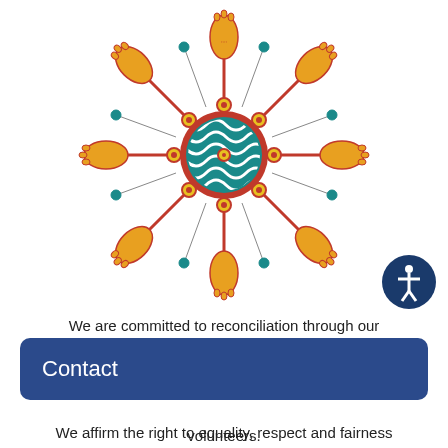[Figure (illustration): Indigenous Australian artwork titled Mundoe-Nurra by Kevin Duncan. A central circular mandala with teal/blue wave pattern and red border, surrounded by radiating red lines connecting to gold/orange foot-shaped forms and teal circular dot nodes, arranged symmetrically around the central circle.]
[Figure (illustration): Blue circular accessibility icon button showing a stick figure person with arms outstretched, white on dark blue background.]
We are committed to reconciliation through our Reconciliation Action Plan. Artwork (above at right): Mundoe-Nurra, by Kevin Duncan.
We affirm the right to equality, respect and fairness...
Contact
volunteers.